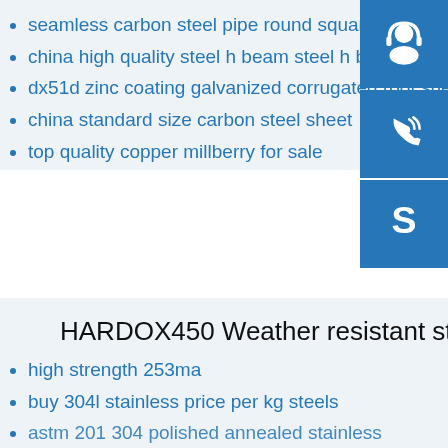seamless carbon steel pipe round square rectangular price
china high quality steel h beam steel h beam size 800*300mm
dx51d zinc coating galvanized corrugated roof sheet
china standard size carbon steel sheet
top quality copper millberry for sale
[Figure (infographic): Three blue icon buttons on the right side: headset/customer service icon, phone/call icon, Skype icon]
HARDOX450 Weather resistant steel
high strength 253ma
buy 304l stainless price per kg steels
astm 201 304 polished annealed stainless